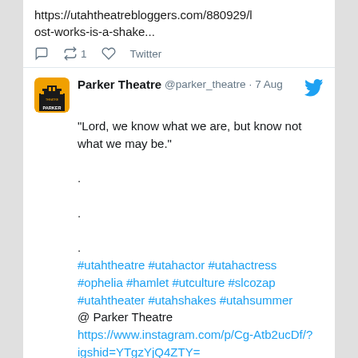https://utahtheatrebloggers.com/880929/lost-works-is-a-shake...
↺ 1   ♡   Twitter
Parker Theatre @parker_theatre · 7 Aug
"Lord, we know what we are, but know not what we may be."
.
.
.
#utahtheatre #utahactor #utahactress #ophelia #hamlet #utculture #slcozap #utahtheater #utahshakes #utahsummer @ Parker Theatre https://www.instagram.com/p/Cg-Atb2ucDf/?igshid=YTgzYjQ4ZTY=
↺   ♡   Twitter
Eileen @zcnb0jb78ghkag7 · 7 Aug
I will wish someone a happy birthday in my...